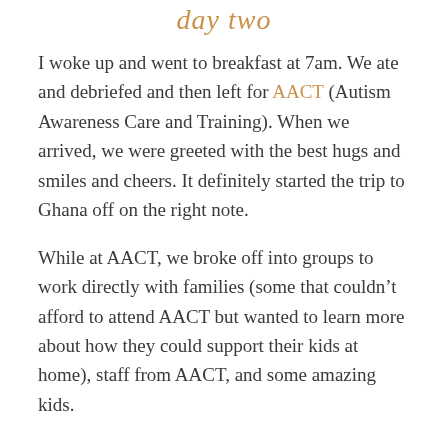day two
I woke up and went to breakfast at 7am. We ate and debriefed and then left for AACT (Autism Awareness Care and Training). When we arrived, we were greeted with the best hugs and smiles and cheers. It definitely started the trip to Ghana off on the right note.
While at AACT, we broke off into groups to work directly with families (some that couldn't afford to attend AACT but wanted to learn more about how they could support their kids at home), staff from AACT, and some amazing kids.